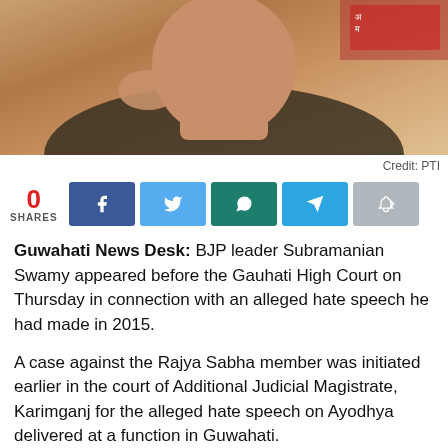[Figure (photo): Close-up photo of a man (BJP leader Subramanian Swamy) with hand raised near face, wearing dark jacket.]
Credit: PTI
Guwahati News Desk: BJP leader Subramanian Swamy appeared before the Gauhati High Court on Thursday in connection with an alleged hate speech he had made in 2015.
A case against the Rajya Sabha member was initiated earlier in the court of Additional Judicial Magistrate, Karimganj for the alleged hate speech on Ayodhya delivered at a function in Guwahati.
Arguing the case as the petitioner-in-person on Thursday,